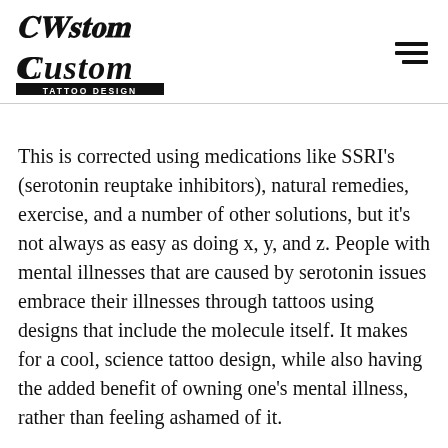Custom Tattoo Design
This is corrected using medications like SSRI's (serotonin reuptake inhibitors), natural remedies, exercise, and a number of other solutions, but it's not always as easy as doing x, y, and z. People with mental illnesses that are caused by serotonin issues embrace their illnesses through tattoos using designs that include the molecule itself. It makes for a cool, science tattoo design, while also having the added benefit of owning one's mental illness, rather than feeling ashamed of it.